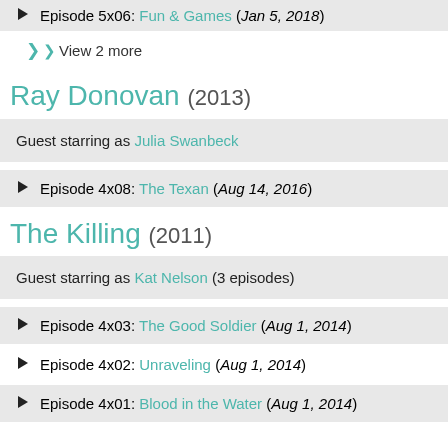Episode 5x06: Fun & Games (Jan 5, 2018)
View 2 more
Ray Donovan (2013)
Guest starring as Julia Swanbeck
Episode 4x08: The Texan (Aug 14, 2016)
The Killing (2011)
Guest starring as Kat Nelson (3 episodes)
Episode 4x03: The Good Soldier (Aug 1, 2014)
Episode 4x02: Unraveling (Aug 1, 2014)
Episode 4x01: Blood in the Water (Aug 1, 2014)